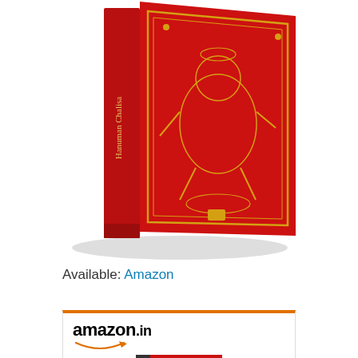[Figure (photo): Red hardcover book titled 'Hanuman Chalisa' with gold Hanuman deity illustration on cover, shown at an angle]
Available: Amazon
[Figure (screenshot): Amazon.in product listing card showing 'Murder Milestone' book by Salil Desai with price INR 169.00]
Murder Milestone: An...
INR 169.00